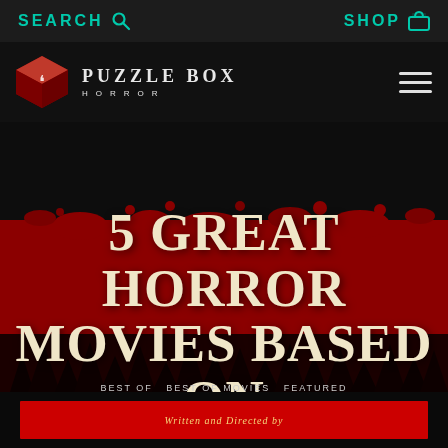SEARCH  SHOP
[Figure (logo): Puzzle Box Horror logo: red geometric cube with swirl design, text PUZZLE BOX HORROR]
5 GREAT HORROR MOVIES BASED ON URBAN LEGENDS
BEST OF  BEST OF MOVIES  FEATURED  HORROR MYSTERY AND LORE
Written and Directed by